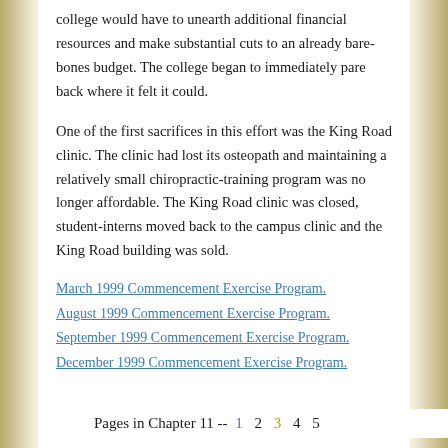college would have to unearth additional financial resources and make substantial cuts to an already bare-bones budget. The college began to immediately pare back where it felt it could.
One of the first sacrifices in this effort was the King Road clinic. The clinic had lost its osteopath and maintaining a relatively small chiropractic-training program was no longer affordable. The King Road clinic was closed, student-interns moved back to the campus clinic and the King Road building was sold.
March 1999 Commencement Exercise Program.
August 1999 Commencement Exercise Program.
September 1999 Commencement Exercise Program.
December 1999 Commencement Exercise Program.
Pages in Chapter 11 -- 1 2 3 4 5